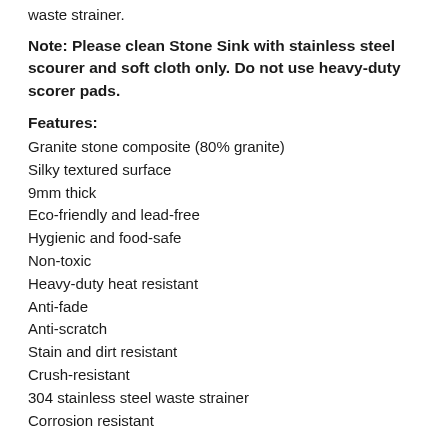waste strainer.
Note: Please clean Stone Sink with stainless steel scourer and soft cloth only. Do not use heavy-duty scorer pads.
Features:
Granite stone composite (80% granite)
Silky textured surface
9mm thick
Eco-friendly and lead-free
Hygienic and food-safe
Non-toxic
Heavy-duty heat resistant
Anti-fade
Anti-scratch
Stain and dirt resistant
Crush-resistant
304 stainless steel waste strainer
Corrosion resistant